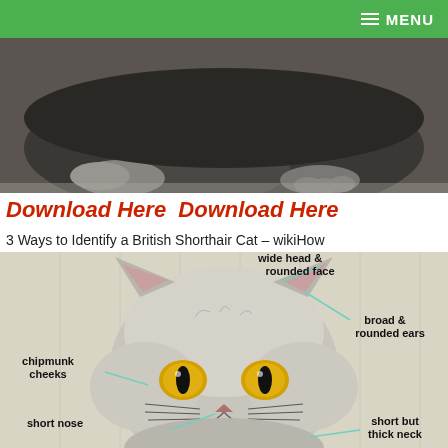MENU
[Figure (photo): A dark grey British Shorthair cat lying down, photographed in black and white tones.]
Download Here  Download Here
3 Ways to Identify a British Shorthair Cat – wikiHow
[Figure (illustration): Illustrated diagram of a British Shorthair cat face with labeled features: wide head & rounded face, broad & rounded ears, chipmunk cheeks, short nose, short but thick neck.]